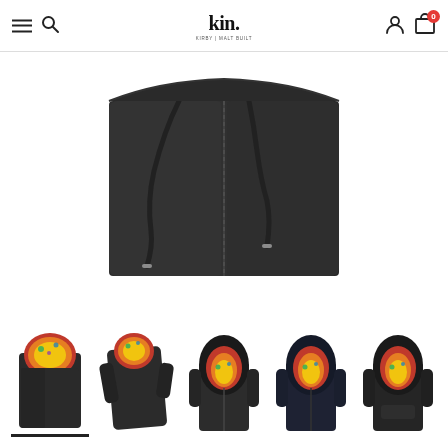kin. — e-commerce product page header with menu, search, logo, user, and cart icons
[Figure (photo): Main product photo: dark charcoal/black zip-up hoodie laid flat, hood drawstrings visible, zipper down the center, on white background]
[Figure (photo): Thumbnail 1: hoodie worn with colorful floral-patterned hood lining visible, close-up, with black underline indicator showing active selection]
[Figure (photo): Thumbnail 2: full hoodie on model/flat, dark zip-up with colorful hood lining, diagonal angle]
[Figure (photo): Thumbnail 3: front view of hoodie worn, hood up showing colorful lining, dark body]
[Figure (photo): Thumbnail 4: front view of hoodie worn, hood up, dark navy body with colorful lining]
[Figure (photo): Thumbnail 5: male model wearing dark hoodie, hood up with colorful lining visible, front facing]